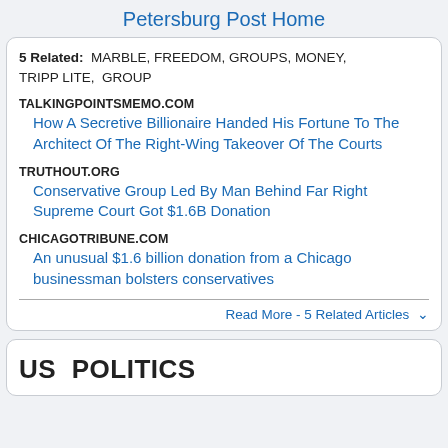Petersburg Post Home
5 Related: MARBLE, FREEDOM, GROUPS, MONEY, TRIPP LITE, GROUP
TALKINGPOINTSMEMO.COM
How A Secretive Billionaire Handed His Fortune To The Architect Of The Right-Wing Takeover Of The Courts
TRUTHOUT.ORG
Conservative Group Led By Man Behind Far Right Supreme Court Got $1.6B Donation
CHICAGOTRIBUNE.COM
An unusual $1.6 billion donation from a Chicago businessman bolsters conservatives
Read More - 5 Related Articles
US  POLITICS